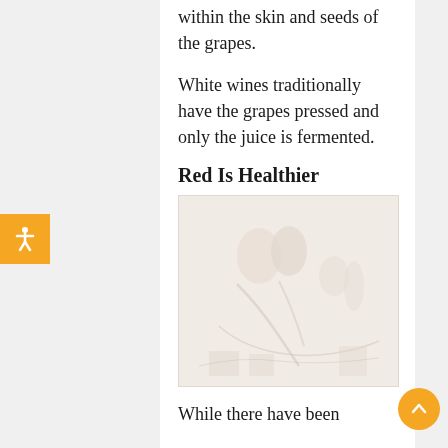within the skin and seeds of the grapes.
White wines traditionally have the grapes pressed and only the juice is fermented.
Red Is Healthier
[Figure (photo): Faded/washed-out photograph showing people, possibly related to wine or grapes]
While there have been